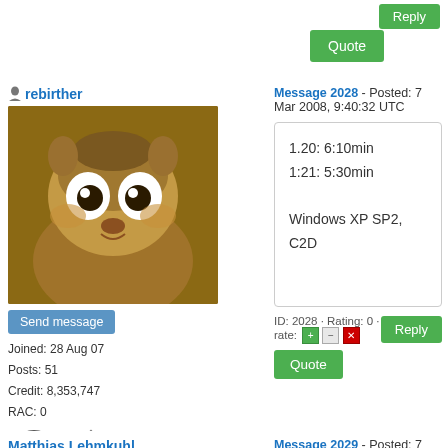[Figure (screenshot): Top bar with Quote button]
rebirther
[Figure (photo): Avatar image of a squirrel character from Ice Age]
Send message
Joined: 28 Aug 07
Posts: 51
Credit: 8,353,747
RAC: 0
[Figure (illustration): Two user badges: a star circle badge and a diamond XV badge]
Message 2028 - Posted: 7 Mar 2008, 9:40:32 UTC
1.20: 6:10min
1:21: 5:30min

Windows XP SP2, C2D
ID: 2028 · Rating: 0 · rate: +/-/x
Reply
Quote
Matthias Lehmkuhl
Send message
Joined: 29 Sep 07
Posts: 18
Message 2029 - Posted: 7 Mar 2008, 9:54:09 UTC
i run win xp 32 and ubuntu linux 64 bit on the same machine